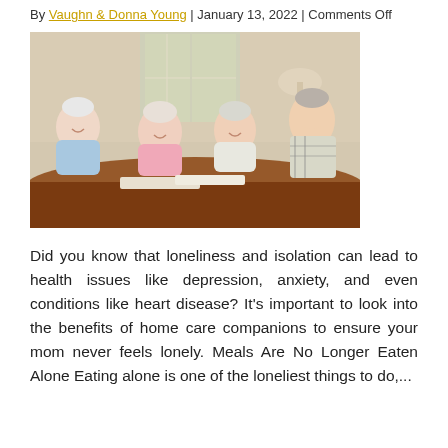By Vaughn & Donna Young | January 13, 2022 | Comments Off
[Figure (photo): Four elderly people (two men and two women) sitting around a table, smiling and socializing, appearing to look at books or papers together in a bright living room setting.]
Did you know that loneliness and isolation can lead to health issues like depression, anxiety, and even conditions like heart disease? It's important to look into the benefits of home care companions to ensure your mom never feels lonely. Meals Are No Longer Eaten Alone Eating alone is one of the loneliest things to do,...